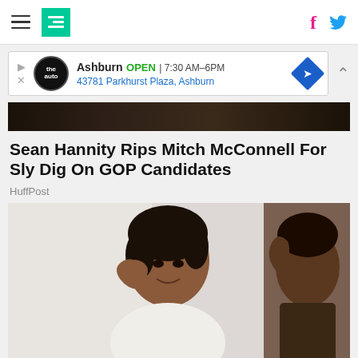HuffPost navigation with hamburger menu, logo, Facebook and Twitter icons
[Figure (screenshot): Advertisement banner: Ashburn OPEN 7:30AM-6PM, 43781 Parkhurst Plaza, Ashburn with auto service logo]
[Figure (photo): Cropped photo of a person (top of head/dark background)]
Sean Hannity Rips Mitch McConnell For Sly Dig On GOP Candidates
HuffPost
[Figure (photo): A smiling young Black woman touching her cheek while looking in a mirror, wearing a white shirt]
6 Lifestyle Changes for Severe Eczema